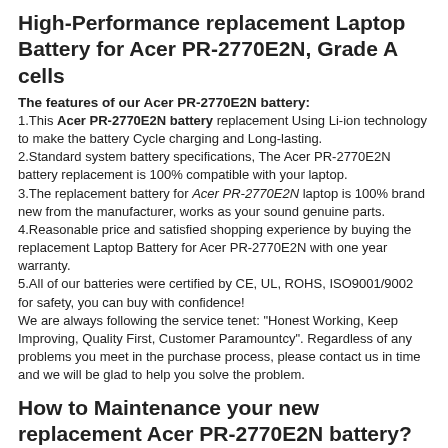High-Performance replacement Laptop Battery for Acer PR-2770E2N, Grade A cells
The features of our Acer PR-2770E2N battery:
1.This Acer PR-2770E2N battery replacement Using Li-ion technology to make the battery Cycle charging and Long-lasting.
2.Standard system battery specifications, The Acer PR-2770E2N battery replacement is 100% compatible with your laptop.
3.The replacement battery for Acer PR-2770E2N laptop is 100% brand new from the manufacturer, works as your sound genuine parts.
4.Reasonable price and satisfied shopping experience by buying the replacement Laptop Battery for Acer PR-2770E2N with one year warranty.
5.All of our batteries were certified by CE, UL, ROHS, ISO9001/9002 for safety, you can buy with confidence!
We are always following the service tenet: "Honest Working, Keep Improving, Quality First, Customer Paramountcy". Regardless of any problems you meet in the purchase process, please contact us in time and we will be glad to help you solve the problem.
How to Maintenance your new replacement Acer PR-2770E2N battery?
1. New Acer PR-2770E2N battery pack must be fully charged before use.